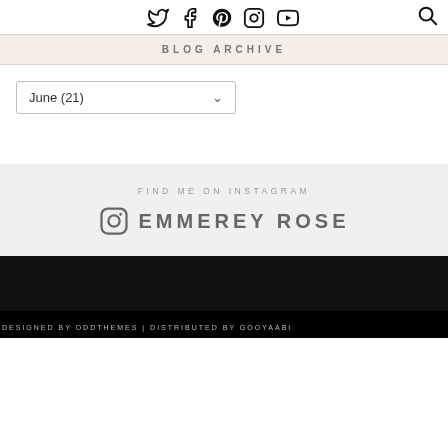Twitter Facebook Pinterest Instagram YouTube [search]
BLOG ARCHIVE
June (21)
FIND ME ON INSTAGRAM
EMMEREY ROSE
DESIGNED BY ODDTHEMES | DISTRIBUTED BY GOOYAABI